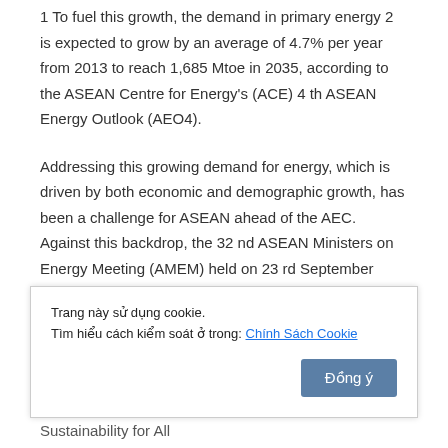1 To fuel this growth, the demand in primary energy 2 is expected to grow by an average of 4.7% per year from 2013 to reach 1,685 Mtoe in 2035, according to the ASEAN Centre for Energy's (ACE) 4th ASEAN Energy Outlook (AEO4).
Addressing this growing demand for energy, which is driven by both economic and demographic growth, has been a challenge for ASEAN ahead of the AEC. Against this backdrop, the 32nd ASEAN Ministers on Energy Meeting (AMEM) held on 23rd September 2014 in Vientiane, Lao PDR, endorsed the theme of the new ASEAN Plan of Action for Energy Cooperation
Trang này sử dụng cookie.
Tìm hiểu cách kiểm soát ở trong: Chính Sách Cookie
Sustainability for All